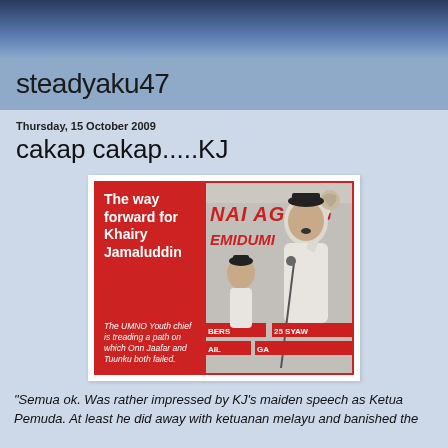steadyaku47
Thursday, 15 October 2009
cakap cakap.....KJ
[Figure (photo): Composite image showing 'The way forward for Khairy Jamaluddin' on red background on left, with photo of a man raising fist at microphone at UMNO AGUNG rally on right. Subtext reads: 'The UMNO Youth chief is treading a path on which Onn Jaafar and Tuunku both failed.']
“Semua ok.  Was rather impressed by KJ’s maiden speech as Ketua Pemuda.  At least he did away with ketuanan melayu and banished the be-ing is… .the thing is…are they…to His…addli…